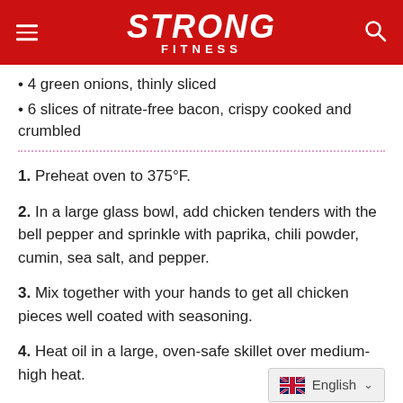STRONG FITNESS
4 green onions, thinly sliced
6 slices of nitrate-free bacon, crispy cooked and crumbled
1. Preheat oven to 375°F.
2. In a large glass bowl, add chicken tenders with the bell pepper and sprinkle with paprika, chili powder, cumin, sea salt, and pepper.
3. Mix together with your hands to get all chicken pieces well coated with seasoning.
4. Heat oil in a large, oven-safe skillet over medium-high heat.